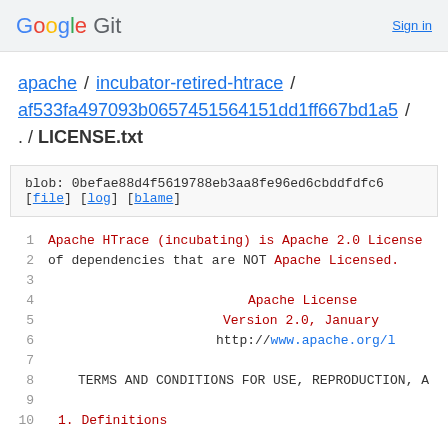Google Git  Sign in
apache / incubator-retired-htrace / af533fa497093b0657451564151dd1ff667bd1a5 / . / LICENSE.txt
blob: 0befae88d4f5619788eb3aa8fe96ed6cbddfdfc6 [file] [log] [blame]
1  Apache HTrace (incubating) is Apache 2.0 License
2  of dependencies that are NOT Apache Licensed.
3  
4                                         Apache License
5                                      Version 2.0, January
6                                         http://www.apache.org/l
7  
8       TERMS AND CONDITIONS FOR USE, REPRODUCTION, A
9  
10  1. Definitions